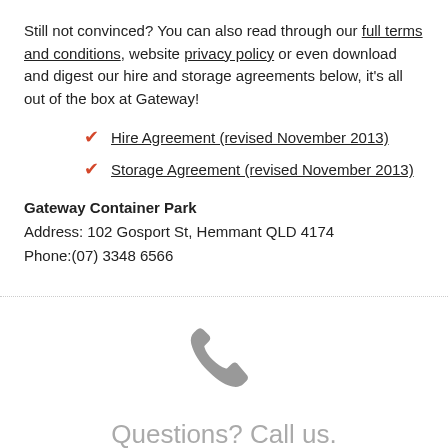Still not convinced? You can also read through our full terms and conditions, website privacy policy or even download and digest our hire and storage agreements below, it's all out of the box at Gateway!
Hire Agreement (revised November 2013)
Storage Agreement (revised November 2013)
Gateway Container Park
Address: 102 Gosport St, Hemmant QLD 4174
Phone:(07) 3348 6566
[Figure (illustration): Grey telephone handset icon]
Questions? Call us.
Talk to us today and find the ideal solution to your unique